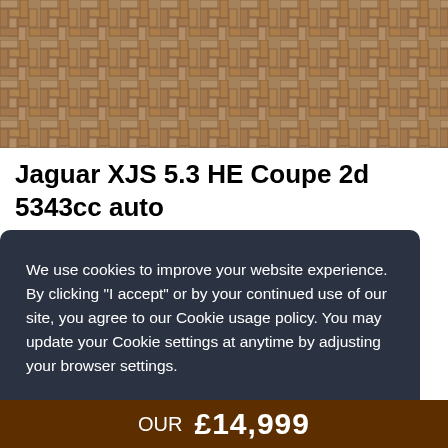[Figure (photo): Herringbone brick paving pattern, tan and brown tones, photographed from above]
Jaguar XJS 5.3 HE Coupe 2d 5343cc auto
We use cookies to improve your website experience. By clicking "I accept" or by your continued use of our site, you agree to our Cookie usage policy. You may update your Cookie settings at anytime by adjusting your browser settings.
I accept
OUR £14,999